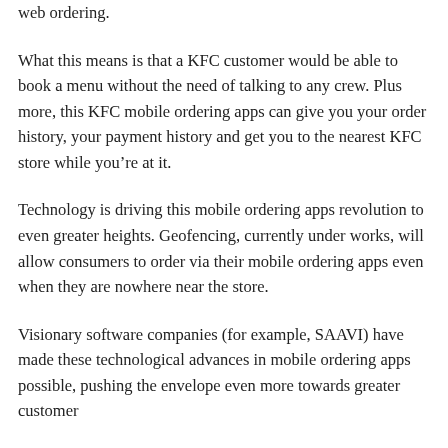web ordering.
What this means is that a KFC customer would be able to book a menu without the need of talking to any crew. Plus more, this KFC mobile ordering apps can give you your order history, your payment history and get you to the nearest KFC store while you’re at it.
Technology is driving this mobile ordering apps revolution to even greater heights. Geofencing, currently under works, will allow consumers to order via their mobile ordering apps even when they are nowhere near the store.
Visionary software companies (for example, SAAVI) have made these technological advances in mobile ordering apps possible, pushing the envelope even more towards greater customer